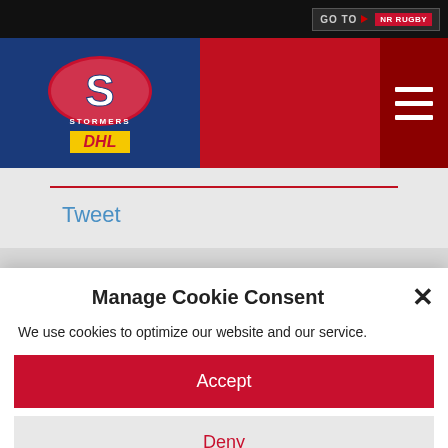[Figure (logo): Stormers rugby team logo with DHL sponsor badge on blue and red header]
Tweet
SA Rugby has reluctantly been forced to withdraw the Springboks from the Castle Lager Rugby Championship.
Manage Cookie Consent
We use cookies to optimize our website and our service.
Accept
Deny